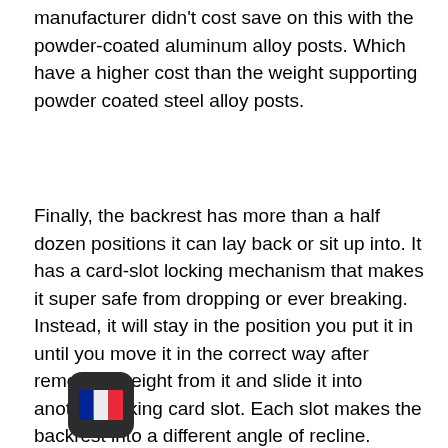manufacturer didn't cost save on this with the powder-coated aluminum alloy posts. Which have a higher cost than the weight supporting powder coated steel alloy posts.
Finally, the backrest has more than a half dozen positions it can lay back or sit up into. It has a card-slot locking mechanism that makes it super safe from dropping or ever breaking. Instead, it will stay in the position you put it in until you move it in the correct way after removing weight from it and slide it into another locking card slot. Each slot makes the backrest into a different angle of recline.
[Figure (illustration): French flag emoji icon displayed on a dark rounded-rectangle background, resembling a mobile app icon]